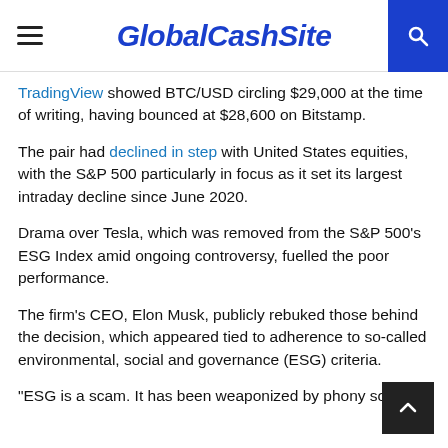GlobalCashSite
TradingView showed BTC/USD circling $29,000 at the time of writing, having bounced at $28,600 on Bitstamp.
The pair had declined in step with United States equities, with the S&P 500 particularly in focus as it set its largest intraday decline since June 2020.
Drama over Tesla, which was removed from the S&P 500's ESG Index amid ongoing controversy, fuelled the poor performance.
The firm's CEO, Elon Musk, publicly rebuked those behind the decision, which appeared tied to adherence to so-called environmental, social and governance (ESG) criteria.
“ESG is a scam. It has been weaponized by phony social